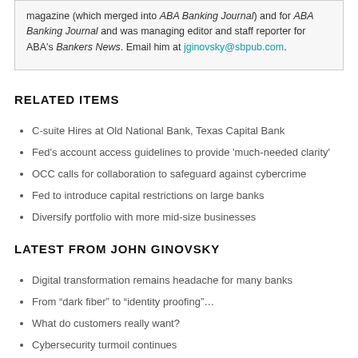magazine (which merged into ABA Banking Journal) and for ABA Banking Journal and was managing editor and staff reporter for ABA's Bankers News. Email him at jginovsky@sbpub.com.
RELATED ITEMS
C-suite Hires at Old National Bank, Texas Capital Bank
Fed's account access guidelines to provide 'much-needed clarity'
OCC calls for collaboration to safeguard against cybercrime
Fed to introduce capital restrictions on large banks
Diversify portfolio with more mid-size businesses
LATEST FROM JOHN GINOVSKY
Digital transformation remains headache for many banks
From “dark fiber” to “identity proofing”…
What do customers really want?
Cybersecurity turmoil continues